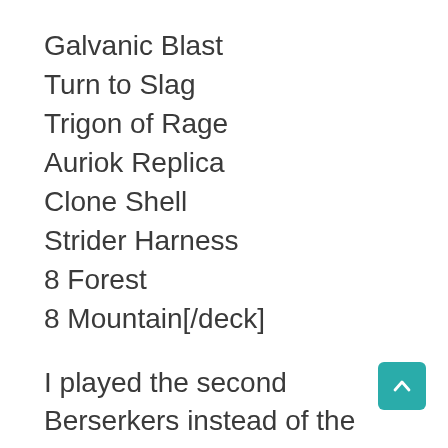Galvanic Blast
Turn to Slag
Trigon of Rage
Auriok Replica
Clone Shell
Strider Harness
8 Forest
8 Mountain[/deck]
I played the second Berserkers instead of the second Censer because with [card]Asceticism[/card], [card]Clone Shell[/card], [card]Strider Harness[/card]